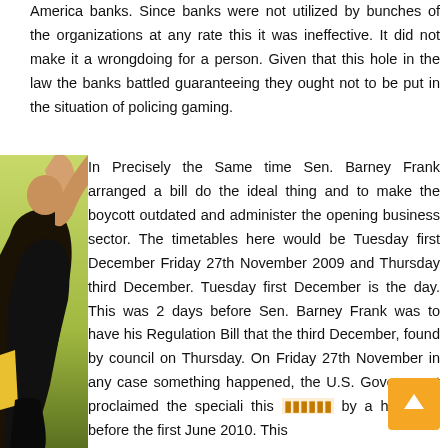America banks. Since banks were not utilized by bunches of the organizations at any rate this it was ineffective. It did not make it a wrongdoing for a person. Given that this hole in the law the banks battled guaranteeing they ought not to be put in the situation of policing gaming.
[Figure (photo): A person with arm raised, partially visible on the left side of the page]
In Precisely the Same time Sen. Barney Frank arranged a bill do the ideal thing and to make the boycott outdated and administer the opening business sector. The timetables here would be Tuesday first December Friday 27th November 2009 and Thursday third December. Tuesday first December is the day. This was 2 days before Sen. Barney Frank was to have his Regulation Bill that the third December, found by council on Thursday. On Friday 27th November in any case something happened, the U.S. Government proclaimed the speciali this [orange text] by a half year before the first June 2010. This